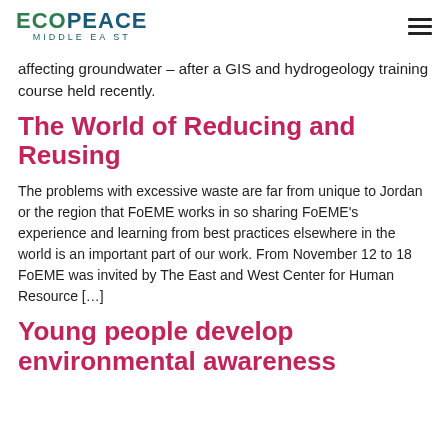ECOPEACE MIDDLE EAST
affecting groundwater – after a GIS and hydrogeology training course held recently.
The World of Reducing and Reusing
The problems with excessive waste are far from unique to Jordan or the region that FoEME works in so sharing FoEME's experience and learning from best practices elsewhere in the world is an important part of our work. From November 12 to 18 FoEME was invited by The East and West Center for Human Resource […]
Young people develop environmental awareness